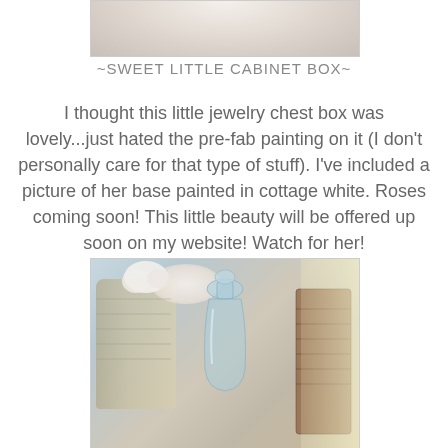[Figure (photo): Top portion of a white/cream painted cabinet box or jewelry chest, partially visible, cut off at top]
~SWEET LITTLE CABINET BOX~
I thought this little jewelry chest box was lovely...just hated the pre-fab painting on it (I don't personally care for that type of stuff).  I've included a picture of her base painted in cottage white.  Roses coming soon!  This little beauty will be offered up soon on my website!  Watch for her!
[Figure (photo): Photo of a clear glass bottle with decorative stopper on top, flanked by a wicker basket with white flowers on the left and a wooden bucket/barrel on the right, bright natural light coming from the right side]